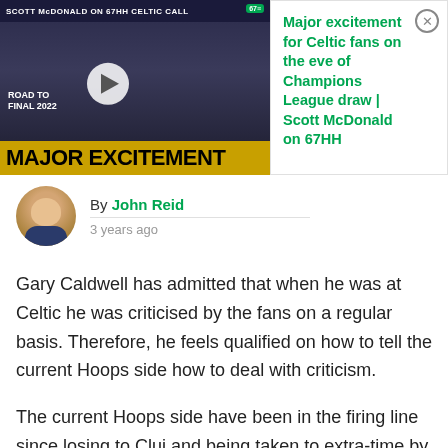[Figure (screenshot): Video thumbnail showing Trophy and Scott McDonald with text MAJOR EXCITEMENT and Road to Final 2022, green 67HH badge]
[Figure (screenshot): Ad panel with text: Major excitement for Celtic fans on the eve of Champions League draw | Scott McDonald on 67HH]
By John Reid
3 years ago
Gary Caldwell has admitted that when he was at Celtic he was criticised by the fans on a regular basis. Therefore, he feels qualified on how to tell the current Hoops side how to deal with criticism.
The current Hoops side have been in the firing line since losing to Cluj and being taken to extra-time by Dunfermline.